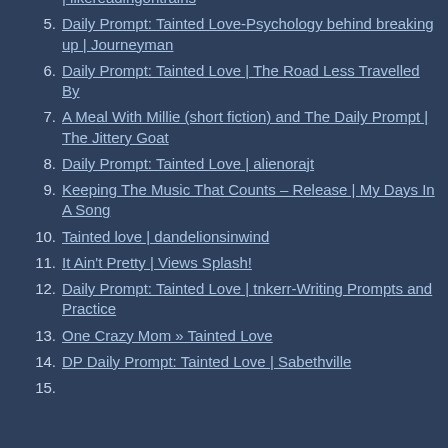| likereadingontrains
5. Daily Prompt: Tainted Love-Psychology behind breaking up | Journeyman
6. Daily Prompt: Tainted Love | The Road Less Travelled By
7. A Meal With Millie (short fiction) and The Daily Prompt | The Jittery Goat
8. Daily Prompt: Tainted Love | alienorajt
9. Keeping The Music That Counts – Release | My Days In A Song
10. Tainted love | dandelionsinwind
11. It Ain't Pretty | Views Splash!
12. Daily Prompt: Tainted Love | tnkerr-Writing Prompts and Practice
13. One Crazy Mom » Tainted Love
14. DP Daily Prompt: Tainted Love | Sabethville
15. (partial, cut off)